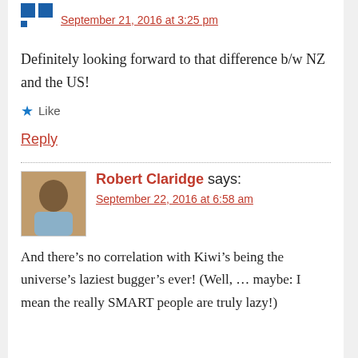September 21, 2016 at 3:25 pm
Definitely looking forward to that difference b/w NZ and the US!
★ Like
Reply
Robert Claridge says:
September 22, 2016 at 6:58 am
And there’s no correlation with Kiwi’s being the universe’s laziest bugger’s ever! (Well, … maybe: I mean the really SMART people are truly lazy!)